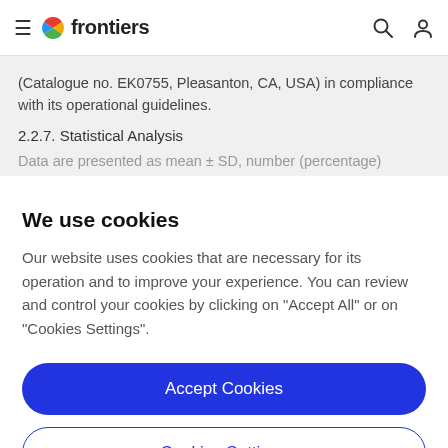frontiers
(Catalogue no. EK0755, Pleasanton, CA, USA) in compliance with its operational guidelines.
2.2.7. Statistical Analysis
Data are presented as mean ± SD, number (percentage)
We use cookies
Our website uses cookies that are necessary for its operation and to improve your experience. You can review and control your cookies by clicking on "Accept All" or on "Cookies Settings".
Accept Cookies
Cookies Settings